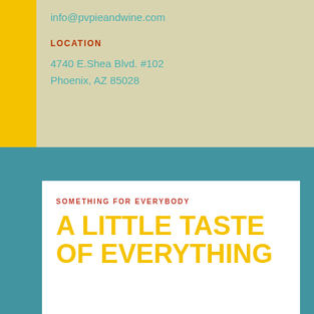info@pvpieandwine.com
LOCATION
4740 E.Shea Blvd. #102
Phoenix, AZ 85028
SOMETHING FOR EVERYBODY
A LITTLE TASTE OF EVERYTHING